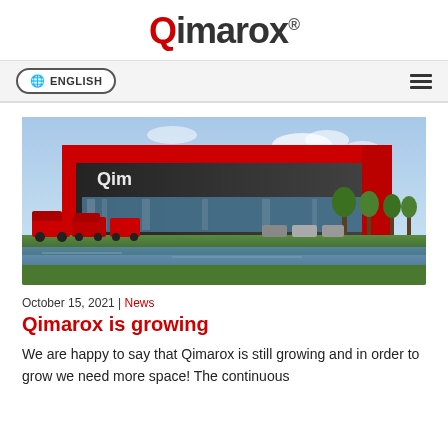Qimarox®
🌐 ENGLISH  ☰
[Figure (photo): Exterior rendering of a modern industrial building with red facade and Qimarox logo, red vans parked in front, adjacent to a canal with green trees]
October 15, 2021 | News
Qimarox is growing
We are happy to say that Qimarox is still growing and in order to grow we need more space! The continuous